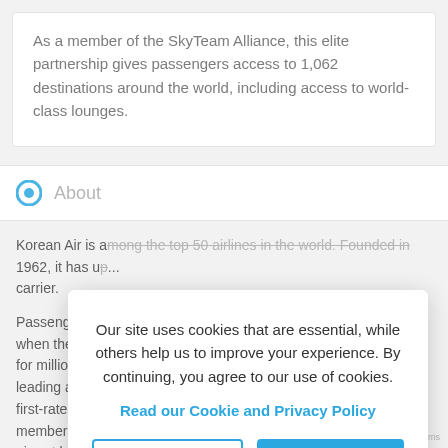As a member of the SkyTeam Alliance, this elite partnership gives passengers access to 1,062 destinations around the world, including access to world-class lounges.
About
Korean Air is among the top 50 airlines in the world. Founded in 1962, it has up... carrier.
Passengers a... when they boo... for millions of... leading airline... first-rate onboa... member of Sk... airport lounges available at their disposal. Korean Air currently
Our site uses cookies that are essential, while others help us to improve your experience. By continuing, you agree to our use of cookies.
Read our Cookie and Privacy Policy
Dismiss
Got it!